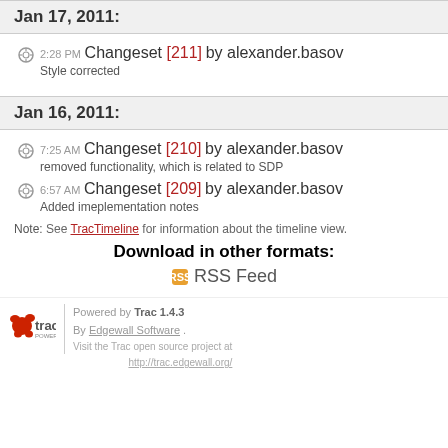Jan 17, 2011:
2:28 PM Changeset [211] by alexander.basov — Style corrected
Jan 16, 2011:
7:25 AM Changeset [210] by alexander.basov — removed functionality, which is related to SDP
6:57 AM Changeset [209] by alexander.basov — Added imeplementation notes
Note: See TracTimeline for information about the timeline view.
Download in other formats:
RSS Feed
Powered by Trac 1.4.3 By Edgewall Software. Visit the Trac open source project at http://trac.edgewall.org/